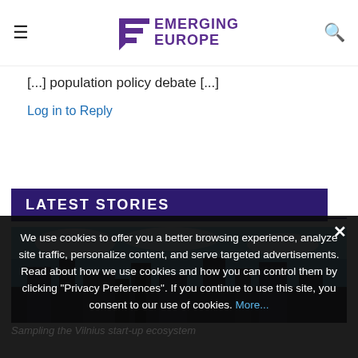Emerging Europe
[...] population policy debate [...]
Log in to Reply
LATEST STORIES
[Figure (photo): Photo strip showing a cityscape or outdoor scene with blue sky]
We use cookies to offer you a better browsing experience, analyze site traffic, personalize content, and serve targeted advertisements. Read about how we use cookies and how you can control them by clicking "Privacy Preferences". If you continue to use this site, you consent to our use of cookies. More...
Sampling the Vilnius start-up ecosystem